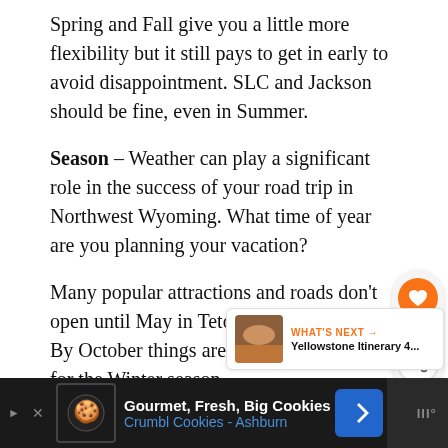Spring and Fall give you a little more flexibility but it still pays to get in early to avoid disappointment. SLC and Jackson should be fine, even in Summer.
Season – Weather can play a significant role in the success of your road trip in Northwest Wyoming. What time of year are you planning your vacation?
Many popular attractions and roads don't open until May in Teton and Yellowstone. By October things are beginning to close for the Winter season.
[Figure (other): Social sharing widget with orange heart/like button showing 1.2K count and a share button below it]
[Figure (other): What's Next promo card with thumbnail image linking to Yellowstone Itinerary 4...]
[Figure (other): Advertisement bar at bottom: Gourmet, Fresh, Big Cookies - Crumbl Cookies - Ashburn, dark background with cookie logo and navigation icon]